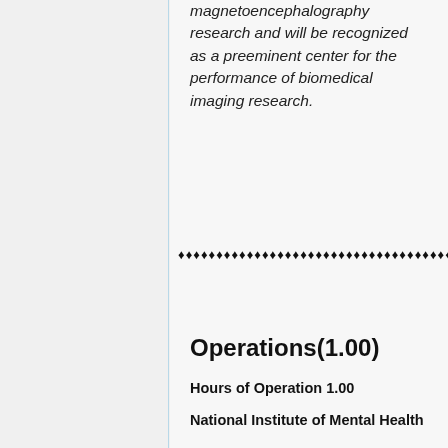magnetoencephalography research and will be recognized as a preeminent center for the performance of biomedical imaging research.
♦♦♦♦♦♦♦♦♦♦♦♦♦♦♦♦♦♦♦♦♦♦♦♦♦♦♦♦♦♦♦♦♦♦♦♦♦♦♦♦♦♦♦♦♦♦♦♦
Operations(1.00)
Hours of Operation 1.00
National Institute of Mental Health